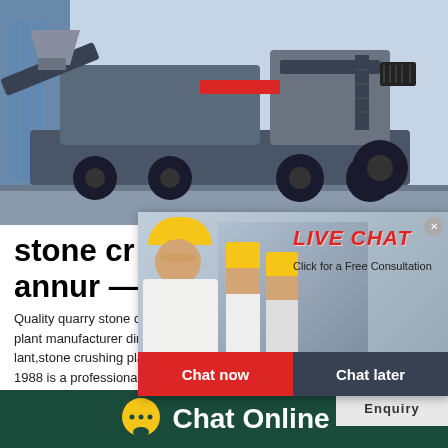[Figure (photo): Large industrial stone crusher / mobile crushing plant machinery in a factory setting. Grey and black mobile crusher unit with conveyor belt, wheels, red accent stripe, and ladder. Blue factory structure visible on left.]
[Figure (screenshot): Live chat popup overlay showing a woman and workers in yellow helmets. Red 'LIVE CHAT' text with italic styling, subtitle 'Click for a Free Consultation', red 'Chat now' button and dark grey 'Chat later' button.]
[Figure (infographic): Customer satisfaction meter panel on right side with teal background, emoji faces, gauge meter graphic pointing to green zone, and 'Click me to chat >>' button. Text reads 'est state for you!' and 'Enquiry' at bottom.]
stone cr
annur —
Quality quarry stone crusher plant alog and q plant manufacturer directory. Online Catalog lant,stone crushing plant parts manufacturers 1988 is a professional manufacturer of stone
[Figure (infographic): Chat Online footer bar with dark green background, yellow speech bubble icon with three dots, and white bold text 'Chat Online'.]